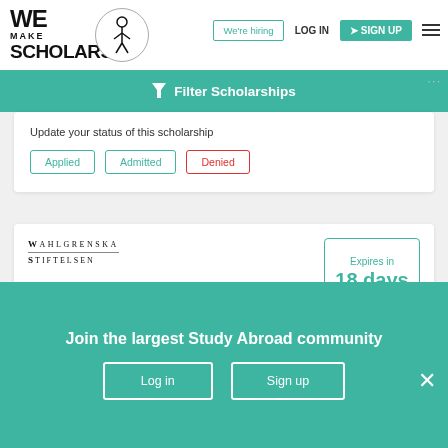We Make Scholars | We're hiring | LOG IN | SIGN UP
Filter Scholarships
Update your status of this scholarship
Applied
Admitted
Denied
[Figure (logo): Wahlgrenska Stiftelsen logo]
Expires in
18 days
Wahlgrenska Foundation Scholarships 2022
Join the largest Study Abroad community
Log in
Sign up